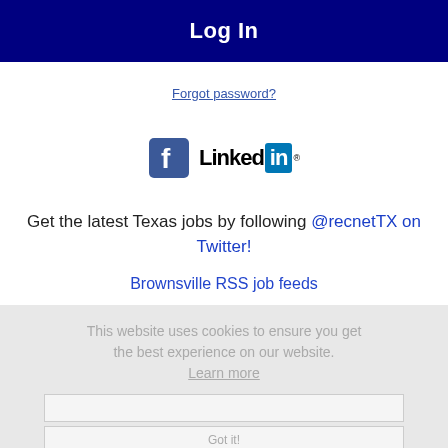Log In
Forgot password?
[Figure (logo): Facebook logo icon and LinkedIn logo side by side]
Get the latest Texas jobs by following @recnetTX on Twitter!
Brownsville RSS job feeds
This website uses cookies to ensure you get the best experience on our website. Learn more
Got it!
JOB SEEKERS
Search Brownsville jobs